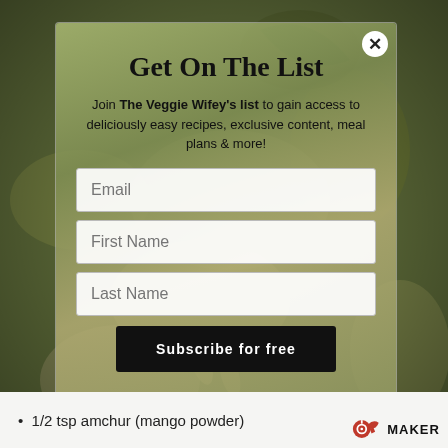[Figure (screenshot): Background blurred image of green vegetables/sprouts with dark vignette overlay]
Get On The List
Join The Veggie Wifey's list to gain access to deliciously easy recipes, exclusive content, meal plans & more!
1/2 tsp amchur (mango powder)